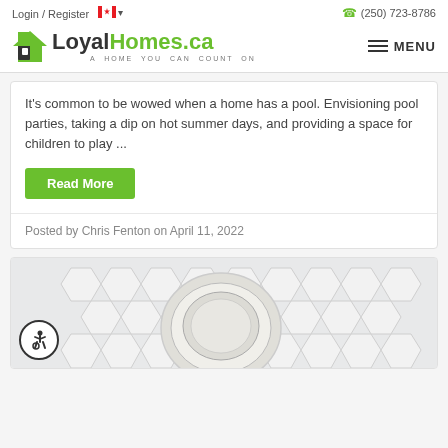Login / Register  (250) 723-8786
[Figure (logo): LoyalHomes.ca logo with green house icon and tagline 'A HOME YOU CAN COUNT ON']
It's common to be wowed when a home has a pool. Envisioning pool parties, taking a dip on hot summer days, and providing a space for children to play ...
Read More
Posted by Chris Fenton on April 11, 2022
[Figure (photo): Photo of paint cans on a white hexagonal tile background]